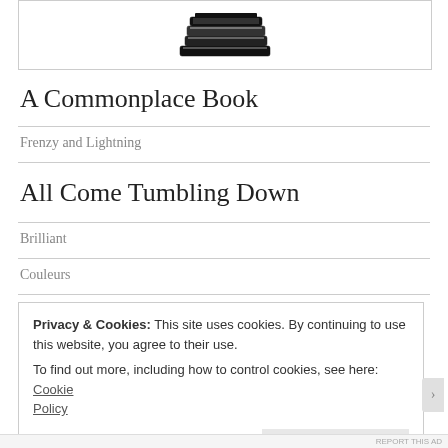[Figure (illustration): Stack of books icon/logo centered in a bordered box at the top of the page]
A Commonplace Book
Frenzy and Lightning
All Come Tumbling Down
Brilliant
Couleurs
Privacy & Cookies: This site uses cookies. By continuing to use this website, you agree to their use. To find out more, including how to control cookies, see here: Cookie Policy  Close and accept